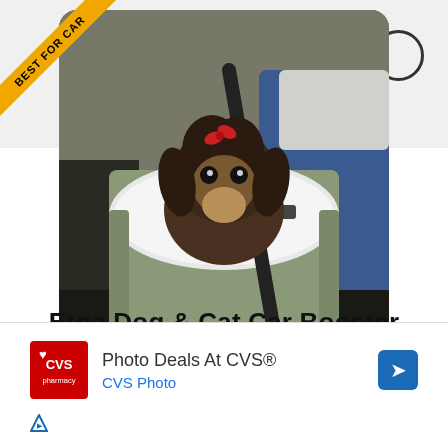[Figure (photo): A small Yorkshire Terrier dog sitting in a sage green fabric car booster seat with white fleece lining, secured with a seatbelt strap, inside a car]
Etna Dog & Cat Car Booster
[Figure (infographic): CVS Pharmacy advertisement: 'Photo Deals At CVS®' with CVS pharmacy logo and navigation arrow icon]